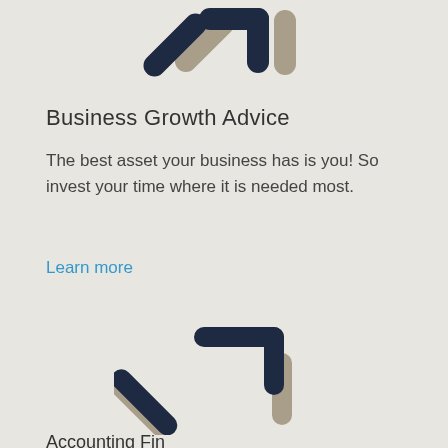[Figure (illustration): Two overlapping upward-pointing arrow icons: one in dark navy and one in beige/tan, partially cropped at top of page]
Business Growth Advice
The best asset your business has is you! So invest your time where it is needed most.
Learn more
[Figure (illustration): Two overlapping upward-pointing arrow icons: one in dark navy and one in beige/tan, positioned in lower half of page]
Accounting Fina...